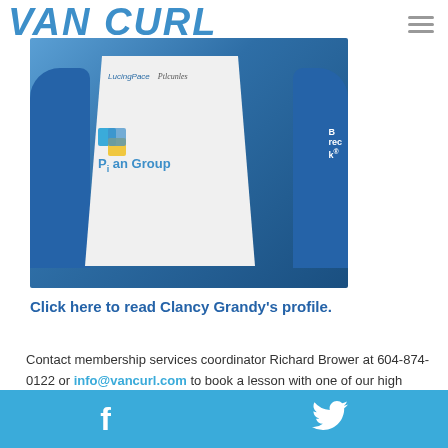VAN CURL
[Figure (photo): Person wearing a blue and white curling jersey with sponsor logos including 'Pi an Group'. Blue sleeves with white body.]
Click here to read Clancy Grandy's profile.
Contact membership services coordinator Richard Brower at 604-874-0122 or info@vancurl.com to book a lesson with one of our high performance coaches or one of our club coaches..
Facebook | Twitter